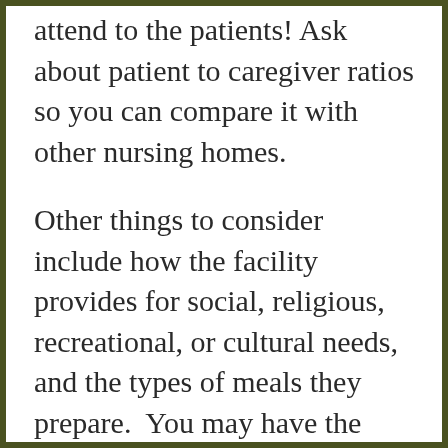attend to the patients! Ask about patient to caregiver ratios so you can compare it with other nursing homes.
Other things to consider include how the facility provides for social, religious, recreational, or cultural needs, and the types of meals they prepare.  You may have the opportunity to have a meal during your visit, which will allow you to sample a meal, but